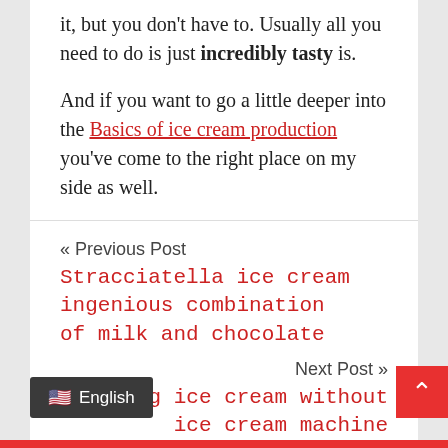it, but you don't have to. Usually all you need to do is just incredibly tasty is.
And if you want to go a little deeper into the Basics of ice cream production you've come to the right place on my side as well.
« Previous Post
Stracciatella ice cream ingenious combination of milk and chocolate
Next Post »
Making ice cream without ice cream machine
29 September 2019   Ice Maker   Ice making   Leave a comment